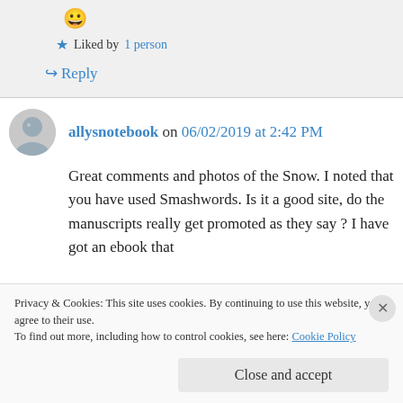[Figure (other): Grinning emoji face 😀]
★ Liked by 1 person
↪ Reply
allysnotebook on 06/02/2019 at 2:42 PM
[Figure (photo): Round avatar photo of a woman with gray hair]
Great comments and photos of the Snow. I noted that you have used Smashwords. Is it a good site, do the manuscripts really get promoted as they say ? I have got an ebook that
Privacy & Cookies: This site uses cookies. By continuing to use this website, you agree to their use.
To find out more, including how to control cookies, see here: Cookie Policy
Close and accept